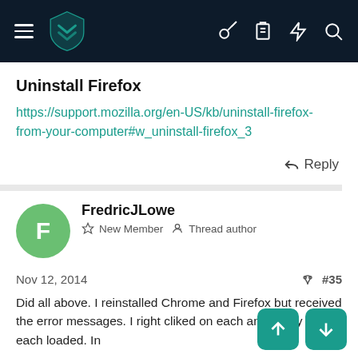[Figure (screenshot): Dark navy navigation bar with hamburger menu, teal shield logo, and icons for key, clipboard, lightning bolt, and search on the right.]
Uninstall Firefox
https://support.mozilla.org/en-US/kb/uninstall-firefox-from-your-computer#w_uninstall-firefox_3
Reply
FredricJLowe
New Member  Thread author
Nov 12, 2014  #35
Did all above. I reinstalled Chrome and Firefox but received the error messages. I right cliked on each and finally they each loaded. In